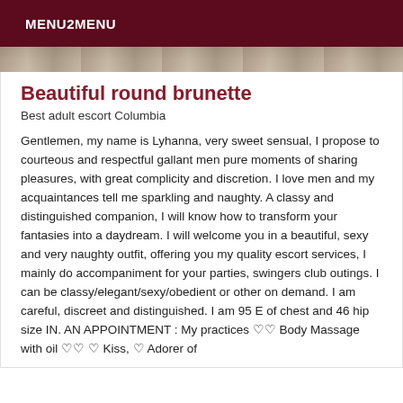MENU2MENU
[Figure (photo): Partial photo strip of a person, cropped, serving as a banner image]
Beautiful round brunette
Best adult escort Columbia
Gentlemen, my name is Lyhanna, very sweet sensual, I propose to courteous and respectful gallant men pure moments of sharing pleasures, with great complicity and discretion. I love men and my acquaintances tell me sparkling and naughty. A classy and distinguished companion, I will know how to transform your fantasies into a daydream. I will welcome you in a beautiful, sexy and very naughty outfit, offering you my quality escort services, I mainly do accompaniment for your parties, swingers club outings. I can be classy/elegant/sexy/obedient or other on demand. I am careful, discreet and distinguished. I am 95 E of chest and 46 hip size IN. AN APPOINTMENT : My practices ♡♡ Body Massage with oil ♡♡ ♡ Kiss, ♡ Adorer of